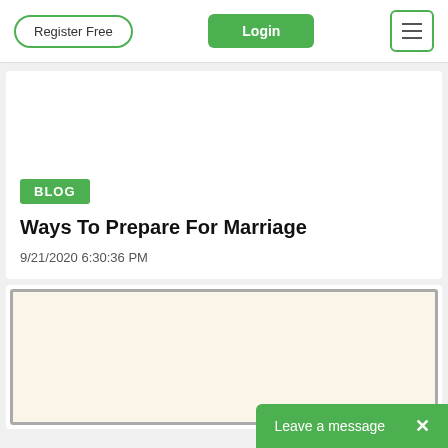Register Free | Login | Menu
[Figure (other): White image area at top of blog card]
BLOG
Ways To Prepare For Marriage
9/21/2020 6:30:36 PM
[Figure (photo): Cream/beige colored image panel in second card]
Leave a message  ×